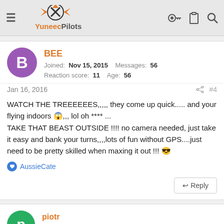YuneecPilots
BEE
Joined: Nov 15, 2015  Messages: 56
Reaction score: 11  Age: 56
Jan 16, 2016  #4
WATCH THE TREEEEEES,,,,, they come up quick..... and your flying indoors 😱,,, lol oh **** ...
TAKE THAT BEAST OUTSIDE !!!! no camera needed, just take it easy and bank your turns,,,,lots of fun without GPS....just need to be pretty skilled when maxing it out !!! 😎
AussieCate
piotr